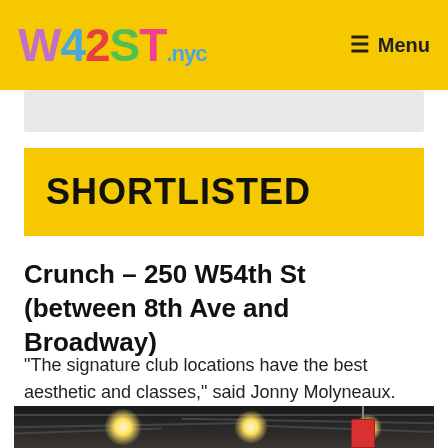W42ST.nyc — Menu
SHORTLISTED
Crunch – 250 W54th St (between 8th Ave and Broadway)
“The signature club locations have the best aesthetic and classes,” said Jonny Molyneaux.
[Figure (photo): Interior photo of a gym showing a dark industrial ceiling with bright ceiling lights and a hanging red exit sign.]